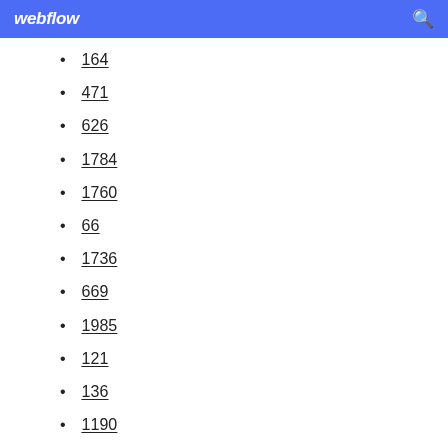webflow
164
471
626
1784
1760
66
1736
669
1985
121
136
1190
1457